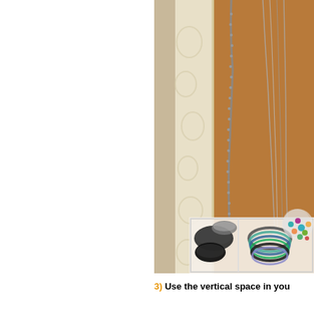[Figure (photo): A corkboard with an ornate cream/white embossed frame, showing necklaces and chains hanging from pins on the corkboard surface. Below the frame is an acrylic organizer tray containing bracelets, bangles, and jewelry items including colorful beaded pieces.]
3) Use the vertical space in you